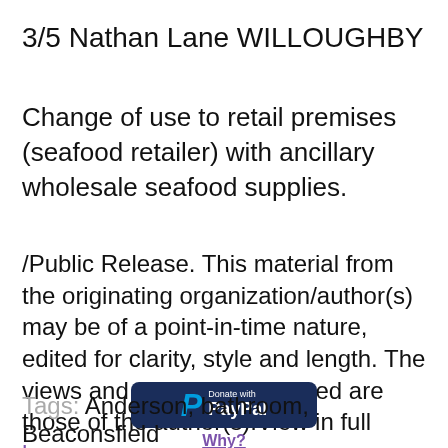3/5 Nathan Lane WILLOUGHBY
Change of use to retail premises (seafood retailer) with ancillary wholesale seafood supplies.
/Public Release. This material from the originating organization/author(s) may be of a point-in-time nature, edited for clarity, style and length. The views and opinions expressed are those of the author(s).View in full here.
[Figure (logo): PayPal donation button with dark navy background, cyan P logo, and 'Donate with PayPal' text in white]
Why?
Tags: Anderson, bathroom, Beaconsfield